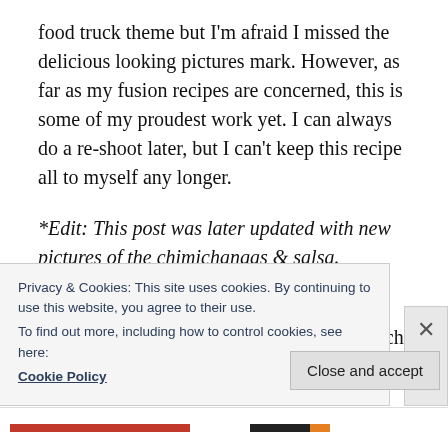food truck theme but I'm afraid I missed the delicious looking pictures mark. However, as far as my fusion recipes are concerned, this is some of my proudest work yet. I can always do a re-shoot later, but I can't keep this recipe all to myself any longer.
*Edit: This post was later updated with new pictures of the chimichangas & salsa.
I was honestly surprised at how well the kimchi blended in. In the past, I've had kimchi burritos & kimchi nachos from food trucks. Of the ones I
Privacy & Cookies: This site uses cookies. By continuing to use this website, you agree to their use.
To find out more, including how to control cookies, see here:
Cookie Policy
Close and accept